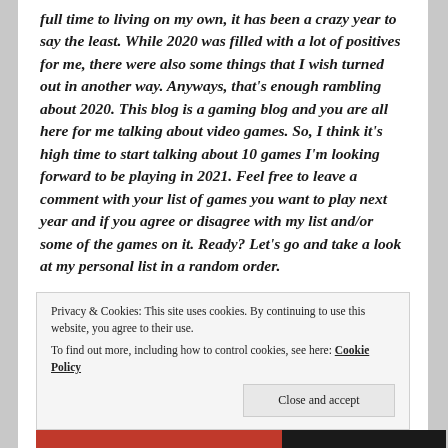full time to living on my own, it has been a crazy year to say the least. While 2020 was filled with a lot of positives for me, there were also some things that I wish turned out in another way. Anyways, that's enough rambling about 2020. This blog is a gaming blog and you are all here for me talking about video games. So, I think it's high time to start talking about 10 games I'm looking forward to be playing in 2021. Feel free to leave a comment with your list of games you want to play next year and if you agree or disagree with my list and/or some of the games on it. Ready? Let's go and take a look at my personal list in a random order.
Privacy & Cookies: This site uses cookies. By continuing to use this website, you agree to their use.
To find out more, including how to control cookies, see here: Cookie Policy
Close and accept